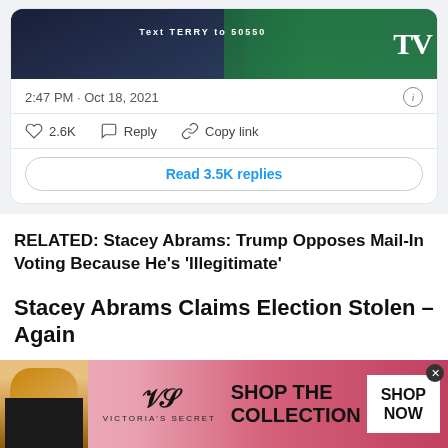[Figure (screenshot): Twitter/X embedded tweet showing image with 'Text TERRY to 50550' overlay and TV logo]
2:47 PM · Oct 18, 2021
2.6K   Reply   Copy link
Read 3.5K replies
RELATED: Stacey Abrams: Trump Opposes Mail-In Voting Because He's 'Illegitimate'
Stacey Abrams Claims Election Stolen – Again
Stacey Abrams' claims of being cheated out of the Georgia governor's race have been a
[Figure (photo): Victoria's Secret advertisement banner with model, VS logo, 'SHOP THE COLLECTION' text and 'SHOP NOW' button]